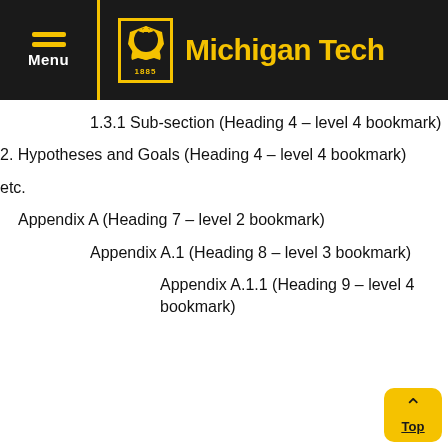Michigan Tech
1.3.1 Sub-section (Heading 4 – level 4 bookmark)
2. Hypotheses and Goals (Heading 4 – level 4 bookmark)
etc.
Appendix A (Heading 7 – level 2 bookmark)
Appendix A.1 (Heading 8 – level 3 bookmark)
Appendix A.1.1 (Heading 9 – level 4 bookmark)